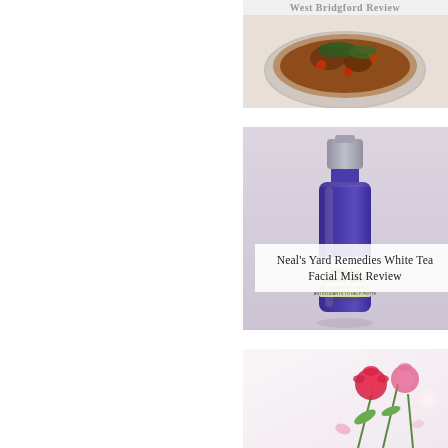[Figure (photo): Top photo partially visible: a bowl of food (appears to be a stew or soup dish) with text overlay reading 'West Bridgford Review' at the top]
[Figure (photo): Middle photo: a dark blue glass bottle with silver spray cap - Neal's Yard Remedies White Tea Facial Mist product bottle on a neutral background]
Neal's Yard Remedies White Tea Facial Mist Review
[Figure (photo): Bottom photo partially visible: pink and red flowers (carnations/peonies) on a white background]